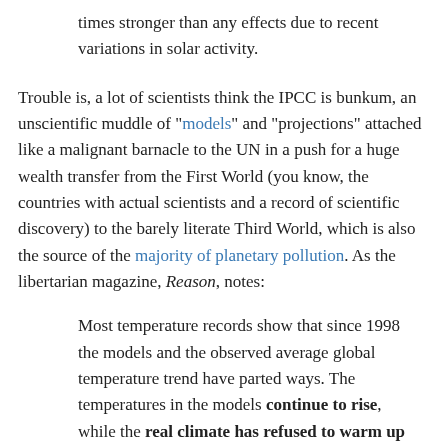times stronger than any effects due to recent variations in solar activity.
Trouble is, a lot of scientists think the IPCC is bunkum, an unscientific muddle of "models" and "projections" attached like a malignant barnacle to the UN in a push for a huge wealth transfer from the First World (you know, the countries with actual scientists and a record of scientific discovery) to the barely literate Third World, which is also the source of the majority of planetary pollution. As the libertarian magazine, Reason, notes:
Most temperature records show that since 1998 the models and the observed average global temperature trend have parted ways. The temperatures in the models continue to rise, while the real climate has refused to warm up much during the past 15 years.
The IPCC report acknowledges that almost all of the "historical simulations do not reproduce the observed